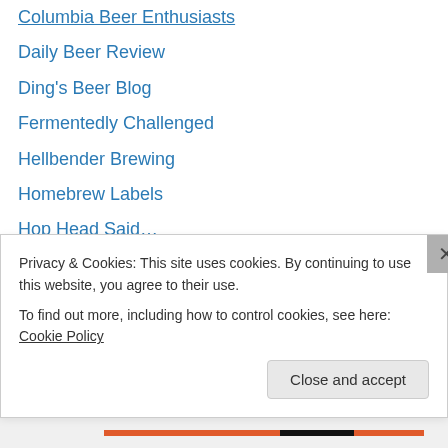Columbia Beer Enthusiasts
Daily Beer Review
Ding's Beer Blog
Fermentedly Challenged
Hellbender Brewing
Homebrew Labels
Hop Head Said…
Hot Knives
It's a Fucking Beer!
It's Just Booze Dancing…
It's What's On Tap
KC Beer Blog
Kentucky Beer Reveiw
Pints and Panels
Privacy & Cookies: This site uses cookies. By continuing to use this website, you agree to their use.
To find out more, including how to control cookies, see here: Cookie Policy
Close and accept